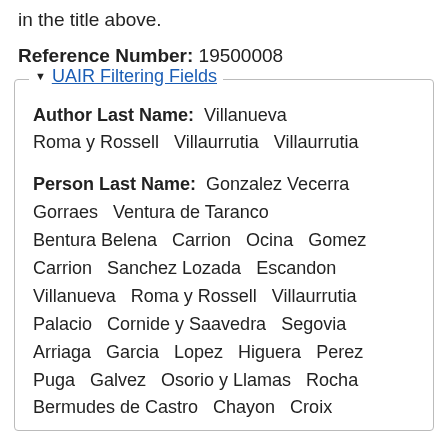in the title above.
Reference Number: 19500008
UAIR Filtering Fields
Author Last Name: Villanueva Roma y Rossell Villaurrutia Villaurrutia
Person Last Name: Gonzalez Vecerra Gorraes Ventura de Taranco Bentura Belena Carrion Ocina Gomez Carrion Sanchez Lozada Escandon Villanueva Roma y Rossell Villaurrutia Palacio Cornide y Saavedra Segovia Arriaga Garcia Lopez Higuera Perez Puga Galvez Osorio y Llamas Rocha Bermudes de Castro Chayon Croix